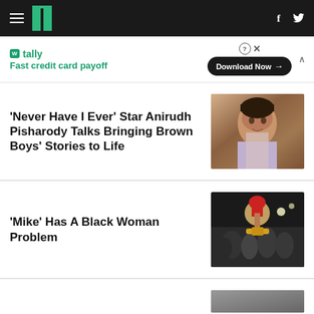HuffPost navigation header with logo, hamburger menu, Facebook and Twitter icons
[Figure (screenshot): Tally advertisement banner: Fast credit card payoff, Download Now button]
'Never Have I Ever' Star Anirudh Pisharody Talks Bringing Brown Boys' Stories to Life
[Figure (photo): Photo of Anirudh Pisharody smiling, wearing a light shirt and tie]
'Mike' Has A Black Woman Problem
[Figure (photo): Photo of a boxer raising a fist with red boxing glove, surrounded by a group of people celebrating]
[Figure (photo): Partial photo visible at bottom of page]